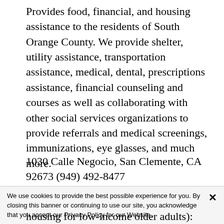Provides food, financial, and housing assistance to the residents of South Orange County. We provide shelter, utility assistance, transportation assistance, medical, dental, prescriptions assistance, financial counseling and courses as well as collaborating with other social services organizations to provide referrals and medical screenings, immunizations, eye glasses, and much more.
1030 Calle Negocio, San Clemente, CA 92673 (949) 492-8477
We use cookies to provide the best possible experience for you. By closing this banner or continuing to use our site, you acknowledge that you accept our Privacy Policy for our Website.
housing for low-income older adults): 7551